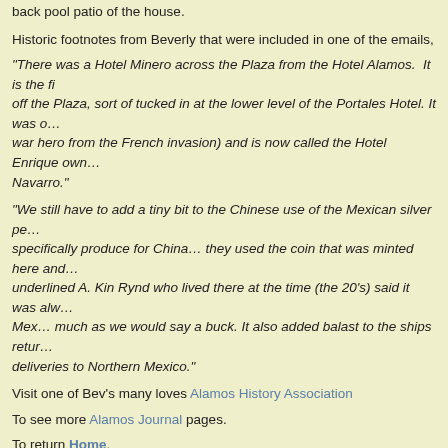back pool patio of the house.
Historic footnotes from Beverly that were included in one of the emails,
"There was a Hotel Minero across the Plaza from the Hotel Alamos. It is the fi... off the Plaza, sort of tucked in at the lower level of the Portales Hotel. It was o... war hero from the French invasion) and is now called the Hotel Enrique own... Navarro."
"We still have to add a tiny bit to the Chinese use of the Mexican silver pe... specifically produce for China… they used the coin that was minted here and underlined A. Kin Rynd who lived there at the time (the 20's) said it was alw... Mex… much as we would say a buck. It also added balast to the ships retur... deliveries to Northern Mexico."
Visit one of Bev's many loves Alamos History Association
To see more Alamos Journal pages.
To return Home.
©2013 Anders Tomlinson, all rights reserved.
Anders Tomlinson, July 2nd 2014 | Tags: Alamos Sonora Mexico, Alamos photos, Anders Tomlin... agave cafe, alamos history association, anamaria alcorn, b.k. hamma, beverly krucek, cammy n... estrada, vickie lockwood
Posted in Alamos places, Alamos people
ELIZABETH NUZUM
[Figure (photo): Photo of Elizabeth Nuzum]